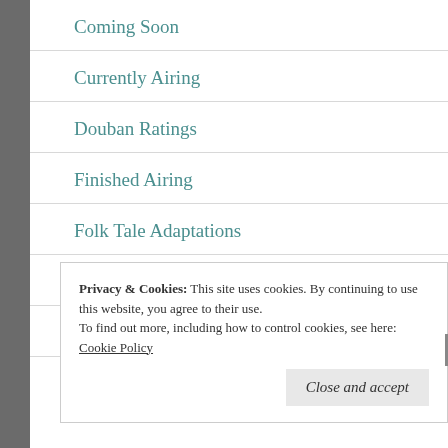Coming Soon
Currently Airing
Douban Ratings
Finished Airing
Folk Tale Adaptations
Forum Guide
Game Adaptations
Privacy & Cookies: This site uses cookies. By continuing to use this website, you agree to their use.
To find out more, including how to control cookies, see here: Cookie Policy
Close and accept